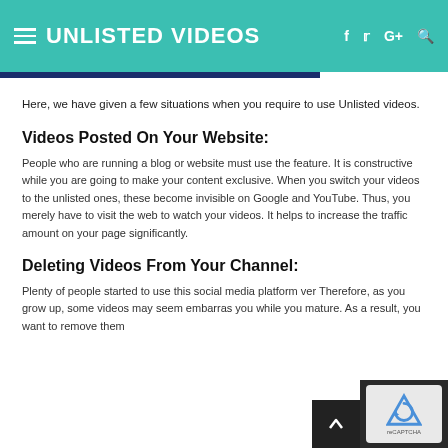UNLISTED VIDEOS
Here, we have given a few situations when you require to use Unlisted videos.
Videos Posted On Your Website:
People who are running a blog or website must use the feature. It is constructive while you are going to make your content exclusive. When you switch your videos to the unlisted ones, these become invisible on Google and YouTube. Thus, you merely have to visit the web to watch your videos. It helps to increase the traffic amount on your page significantly.
Deleting Videos From Your Channel:
Plenty of people started to use this social media platform ver... Therefore, as you grow up, some videos may seem embarras... you while you mature. As a result, you want to remove them